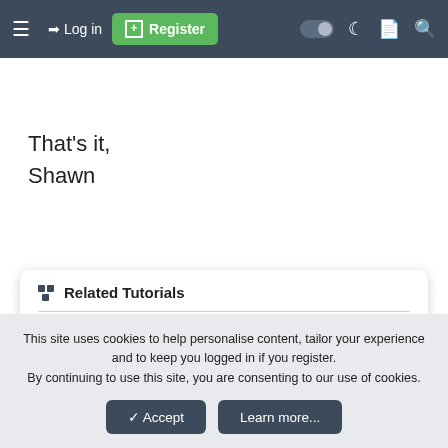≡  →) Log in  ⊞ Register  (toggle) ☾ ▣ 🔍
That's it,
Shawn
Related Tutorials
This site uses cookies to help personalise content, tailor your experience and to keep you logged in if you register.
By continuing to use this site, you are consenting to our use of cookies.
✓ Accept    Learn more...